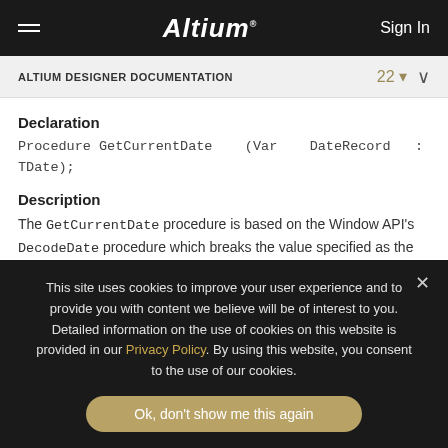Altium | Sign In
ALTIUM DESIGNER DOCUMENTATION  22
Declaration
Procedure GetCurrentDate    (Var   DateRecord   :
TDate);
Description
The GetCurrentDate procedure is based on the Window API's DecodeDate procedure which breaks the value specified as the Date parameter into Year, Month, and Day values. If the given TDateTime
This site uses cookies to improve your user experience and to provide you with content we believe will be of interest to you. Detailed information on the use of cookies on this website is provided in our Privacy Policy. By using this website, you consent to the use of our cookies.
Ok, don't show me this again